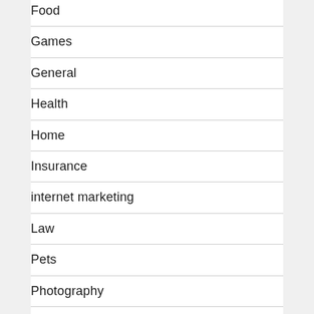Food
Games
General
Health
Home
Insurance
internet marketing
Law
Pets
Photography